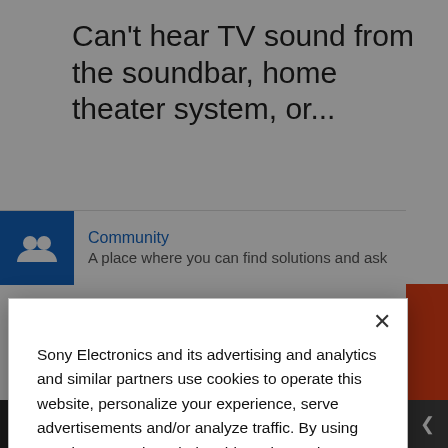Can't hear TV sound from the soundbar, home theater system, or...
Community
A place where you can find solutions and ask
Sony Electronics and its advertising and analytics and similar partners use cookies to operate this website, personalize your experience, serve advertisements and/or analyze traffic. By using our site, you acknowledge this notice and agree to the use of cookies on our site and to our Privacy Policy.
Manage Cookies
News & Info